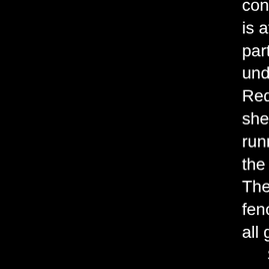and Redgrave confronted each other is at the tip this upper part too, (obscured) under the trees. When Redgrave fled away, she was obviously running down towards the lower left corner. The little wooden fences are apparently all gone now.
    See the little strip of paved street that runs between the two buildings in the lower left? This is Clevely Street, and is the small street that Hemmings walked along as he